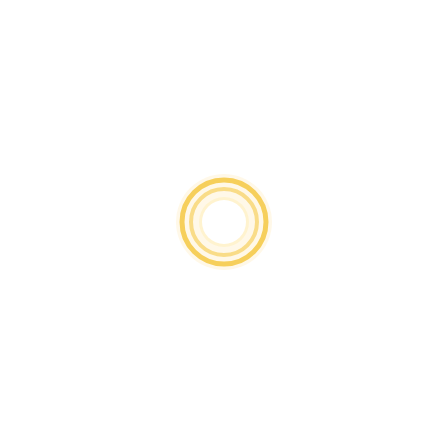[Figure (other): A small circular logo or loading spinner consisting of concentric rings with a golden/amber color gradient, white center, set against a plain white background. The outermost ring is a soft amber/gold, with a slightly brighter inner ring, and a bright white center circle.]